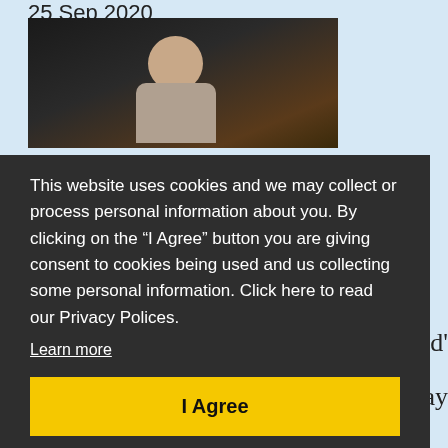25 Sep 2020
[Figure (photo): A man on stage in profile view, looking upward, wearing a light-colored checkered shirt, against a dark background]
This website uses cookies and we may collect or process personal information about you. By clicking on the “I Agree” button you are giving consent to cookies being used and us collecting some personal information. Click here to read our Privacy Polices.
Learn more
I Agree
red'
ay
in development with Liverpool's Royal